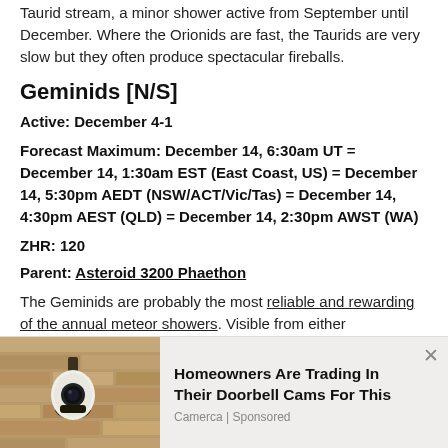Taurid stream, a minor shower active from September until December. Where the Orionids are fast, the Taurids are very slow but they often produce spectacular fireballs.
Geminids [N/S]
Active: December 4-1
Forecast Maximum: December 14, 6:30am UT = December 14, 1:30am EST (East Coast, US) = December 14, 5:30pm AEDT (NSW/ACT/Vic/Tas) = December 14, 4:30pm AEST (QLD) = December 14, 2:30pm AWST (WA)
ZHR: 120
Parent: Asteroid 3200 Phaethon
The Geminids are probably the most reliable and rewarding of the annual meteor showers. Visible from either hemisphere, they yield peak rates of well over a
[Figure (photo): Advertisement banner showing a security camera/doorbell camera mounted on a wall, with ad text: Homeowners Are Trading In Their Doorbell Cams For This. Source: Camerca | Sponsored]